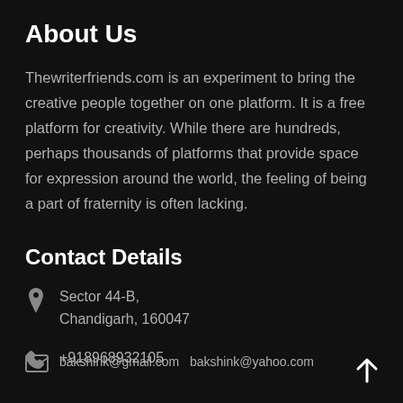About Us
Thewriterfriends.com is an experiment to bring the creative people together on one platform. It is a free platform for creativity. While there are hundreds, perhaps thousands of platforms that provide space for expression around the world, the feeling of being a part of fraternity is often lacking.
Contact Details
Sector 44-B, Chandigarh, 160047
+918968932105
bakshink@gmail.com  bakshink@yahoo.com